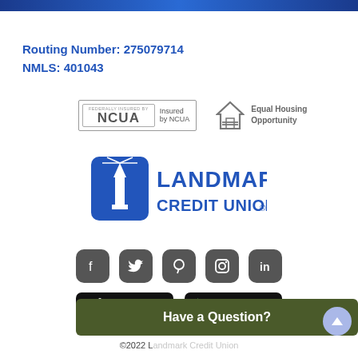Routing Number: 275079714
NMLS: 401043
[Figure (logo): NCUA Insured by NCUA badge and Equal Housing Opportunity badge]
[Figure (logo): Landmark Credit Union logo with lighthouse icon]
[Figure (infographic): Social media icons: Facebook, Twitter, Pinterest, Instagram, LinkedIn]
[Figure (infographic): App Store and Google Play download badges]
©2022 L...
Have a Question?